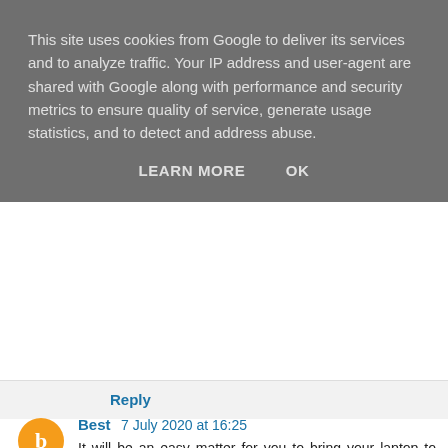This site uses cookies from Google to deliver its services and to analyze traffic. Your IP address and user-agent are shared with Google along with performance and security metrics to ensure quality of service, generate usage statistics, and to detect and address abuse.
LEARN MORE   OK
Reply
Best  7 July 2020 at 16:25
It will be an easy matter for you to bring your laptop to your workshop at home when you need to perform experiments.
360DigiTMG data science training in hyderabad
Reply
Data Science Training  29 August 2020 at 09:35
Thanks for the Information.Interesting stuff to read.Great